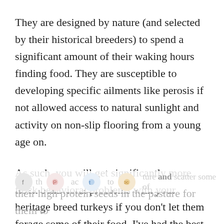They are designed by nature (and selected by their historical breeders) to spend a significant amount of their waking hours finding food. They are susceptible to developing specific ailments like perosis if not allowed access to natural sunlight and activity on non-slip flooring from a young age on.
As such, you will get significantly more flock behavioral problems with your heritage breed turkeys if you don't let them forage some of their food. I've had the best results with turkeys when I [allow] them [access] to [pas]ture and scatter some of their high protein seeds in the pasture for them to